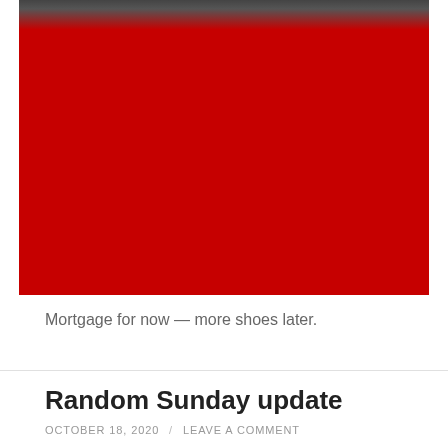[Figure (photo): A close-up photo taken from above showing red pants/jeans on a person's legs, with a grey carpeted floor visible at the top and a blue object partially visible on the right edge.]
Mortgage for now — more shoes later.
Random Sunday update
OCTOBER 18, 2020 / LEAVE A COMMENT